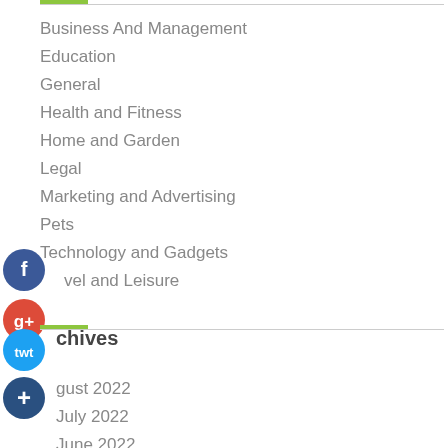Business And Management
Education
General
Health and Fitness
Home and Garden
Legal
Marketing and Advertising
Pets
Technology and Gadgets
Travel and Leisure
Archives
August 2022
July 2022
June 2022
May 2022